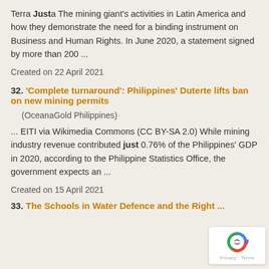Terra Justa The mining giant's activities in Latin America and how they demonstrate the need for a binding instrument on Business and Human Rights. In June 2020, a statement signed by more than 200 ...
Created on 22 April 2021
32. ‘Complete turnaround’: Philippines’ Duterte lifts ban on new mining permits
(OceanaGold Philippines)
... EITI via Wikimedia Commons (CC BY-SA 2.0) While mining industry revenue contributed just 0.76% of the Philippines’ GDP in 2020, according to the Philippine Statistics Office, the government expects an ...
Created on 15 April 2021
33. The Schools in Water Defence and the Right ...